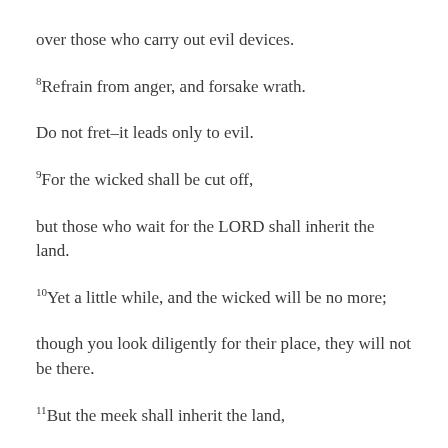over those who carry out evil devices.
8Refrain from anger, and forsake wrath.
Do not fret–it leads only to evil.
9For the wicked shall be cut off,
but those who wait for the LORD shall inherit the land.
10Yet a little while, and the wicked will be no more;
though you look diligently for their place, they will not be there.
11But the meek shall inherit the land,